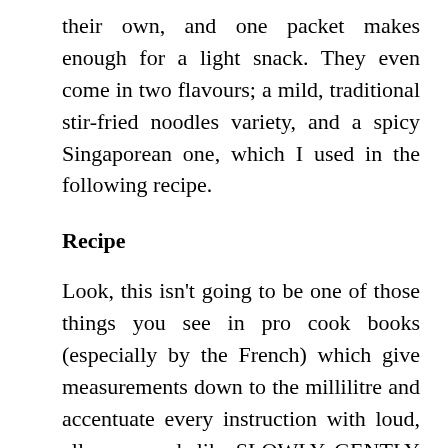their own, and one packet makes enough for a light snack. They even come in two flavours; a mild, traditional stir-fried noodles variety, and a spicy Singaporean one, which I used in the following recipe.
Recipe
Look, this isn't going to be one of those things you see in pro cook books (especially by the French) which give measurements down to the millilitre and accentuate every instruction with loud, all-caps words like SLOWLY, GENTLY and YOU STUPID COW YOU WILL NEVER GET A MICHELIN STAR BUT I'M MAKING MILLIONS OFF THIS BOOK HAHAHAHA. I'm assuming you know your way round a kitchen, and understand that moderation is usually the best way forward, especially in stir-